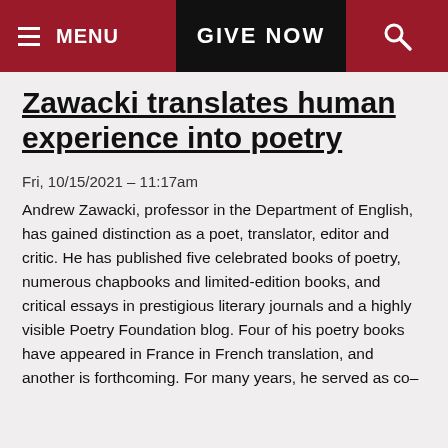MENU | GIVE NOW
Zawacki translates human experience into poetry
Fri, 10/15/2021 – 11:17am
Andrew Zawacki, professor in the Department of English, has gained distinction as a poet, translator, editor and critic. He has published five celebrated books of poetry, numerous chapbooks and limited-edition books, and critical essays in prestigious literary journals and a highly visible Poetry Foundation blog. Four of his poetry books have appeared in France in French translation, and another is forthcoming. For many years, he served as co–